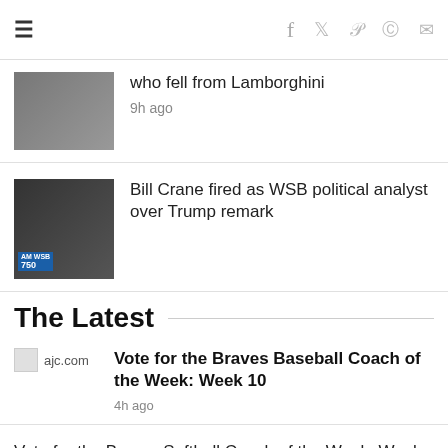☰ f 𝕎 p reddit mail
who fell from Lamborghini
9h ago
Bill Crane fired as WSB political analyst over Trump remark
The Latest
ajc.com — Vote for the Braves Baseball Coach of the Week: Week 10
4h ago
Vote for the Braves Softball Coach of the Week: Week 10
4h ago